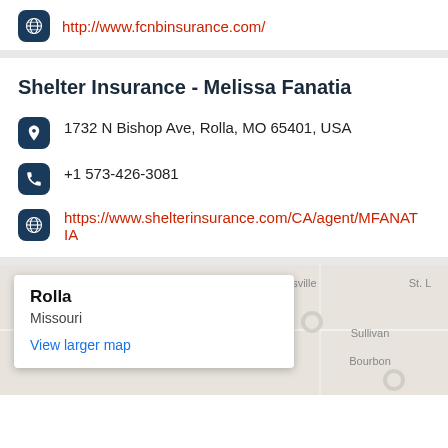http://www.fcnbinsurance.com/
Shelter Insurance - Melissa Fanatia
1732 N Bishop Ave, Rolla, MO 65401, USA
+1 573-426-3081
https://www.shelterinsurance.com/CA/agent/MFANATIA
[Figure (map): Google Maps view showing Rolla, Missouri area with a popup box containing city name Rolla, state Missouri, and a View larger map link. Map background shows light beige terrain with town labels including Owensville, Sullivan, Bourbon, and St. Louis area.]